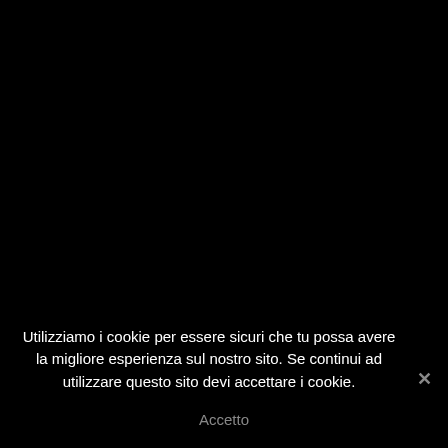[Figure (photo): Black background filling most of the page]
Utilizziamo i cookie per essere sicuri che tu possa avere la migliore esperienza sul nostro sito. Se continui ad utilizzare questo sito devi accettare i cookie.
Accetto